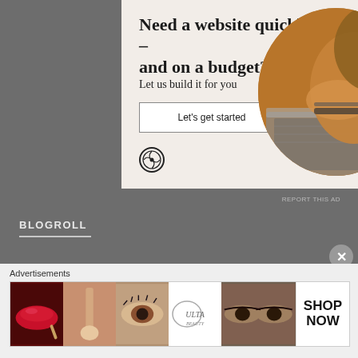[Figure (infographic): WordPress advertisement banner with beige background, headline 'Need a website quickly – and on a budget?', subtitle 'Let us build it for you', a 'Let's get started' button, WordPress logo, and a circular photo of hands typing on a laptop]
REPORT THIS AD
BLOGROLL
Charleston Daily Photo
[Figure (infographic): Ulta Beauty advertisement strip showing makeup images including lips with lipstick, makeup brush, eye with mascara, Ulta logo, eyes with dark makeup, and 'SHOP NOW' text]